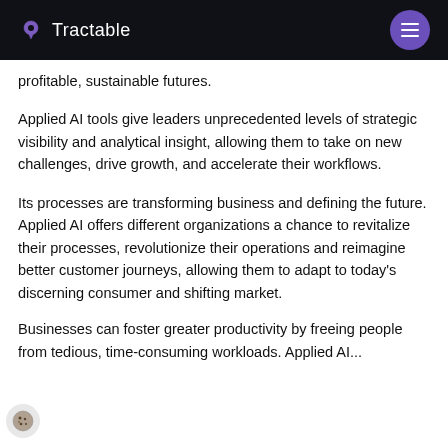Tractable
profitable, sustainable futures.
Applied AI tools give leaders unprecedented levels of strategic visibility and analytical insight, allowing them to take on new challenges, drive growth, and accelerate their workflows.
Its processes are transforming business and defining the future. Applied AI offers different organizations a chance to revitalize their processes, revolutionize their operations and reimagine better customer journeys, allowing them to adapt to today's discerning consumer and shifting market.
Businesses can foster greater productivity by freeing people from tedious, time-consuming workloads. Applied AI...